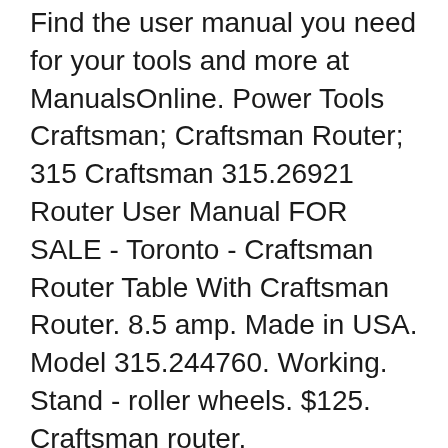Find the user manual you need for your tools and more at ManualsOnline. Power Tools Craftsman; Craftsman Router; 315 Craftsman 315.26921 Router User Manual FOR SALE - Toronto - Craftsman Router Table With Craftsman Router. 8.5 amp. Made in USA. Model 315.244760. Working. Stand - roller wheels. $125. Craftsman router.
Manufacturer: Craftsman, Model: 315.26921, Type of document: User manual, Category: Router, Number of pages: 22 Craftsman Table Saw Model 315 Manual These publications include old catalogs, manuals, Items found similar to "Craftsman Router Model 315 17461 with hard